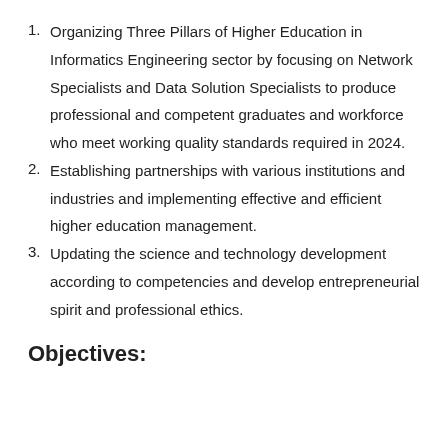Organizing Three Pillars of Higher Education in Informatics Engineering sector by focusing on Network Specialists and Data Solution Specialists to produce professional and competent graduates and workforce who meet working quality standards required in 2024.
Establishing partnerships with various institutions and industries and implementing effective and efficient higher education management.
Updating the science and technology development according to competencies and develop entrepreneurial spirit and professional ethics.
Objectives: